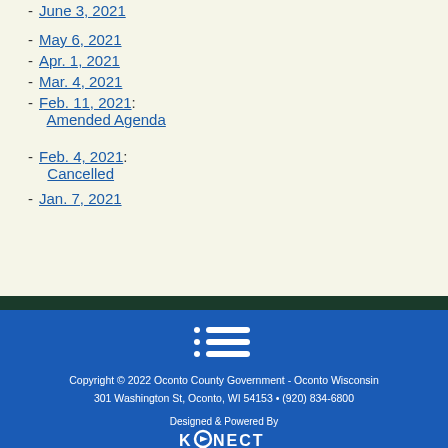- June 3, 2021
- May 6, 2021
- Apr. 1, 2021
- Mar. 4, 2021
- Feb. 11, 2021: Amended Agenda
- Feb. 4, 2021: Cancelled
- Jan. 7, 2021
Copyright © 2022 Oconto County Government - Oconto Wisconsin 301 Washington St, Oconto, WI 54153 • (920) 834-6800
Designed & Powered By KONECT